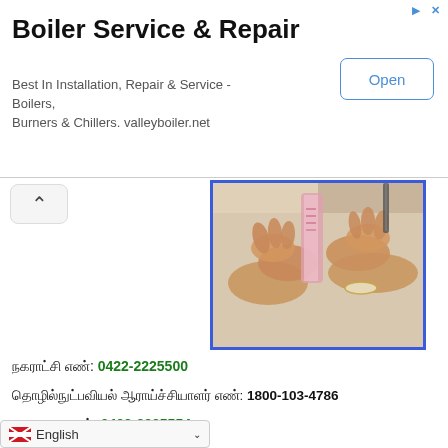Boiler Service & Repair
Best In Installation, Repair & Service - Boilers, Burners & Chillers. valleyboiler.net
[Figure (screenshot): An advertisement banner with Open button, followed by a video frame showing hands writing/signing a document, with a blue border around the video frame and a back chevron button.]
நகராட்சி எண்: 0422-2225500
தொழில்நுட்பவியல் ஆராய்ச்சியாளர் எண்: 1800-103-4786
நகரசபை எண்: 0422-2225554
நகராட்சி எண்: 0422-2225500
English